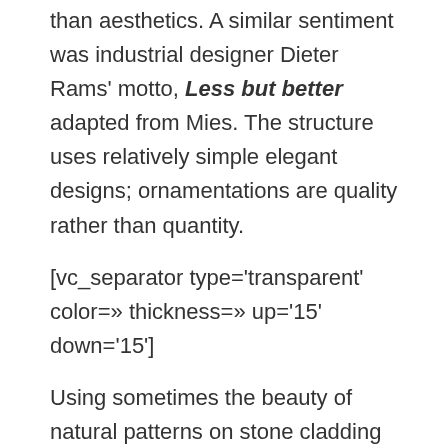than aesthetics. A similar sentiment was industrial designer Dieter Rams' motto, Less but better adapted from Mies. The structure uses relatively simple elegant designs; ornamentations are quality rather than quantity.
[vc_separator type='transparent' color=» thickness=» up='15' down='15']
Using sometimes the beauty of natural patterns on stone cladding and real wood encapsulated within ordered simplified structures, and real metal producing a simplified but prestigious architecture and interior design. May use color brightness balance and contrast between surface colors to improve visual aesthetics. The structure would usually have industrial and space age style utilities (lamps, stoves, stairs, technology, etc.), neat and straight components (like walls or stairs) that appear to be machined with equipment, flat or